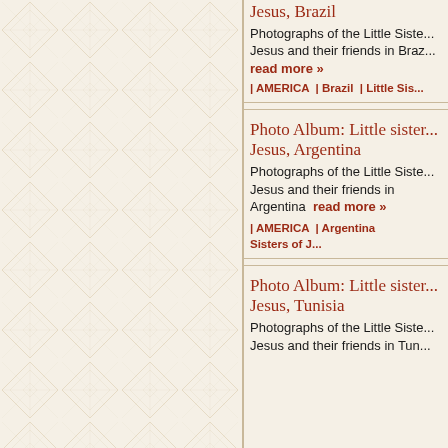Jesus, Brazil
Photographs of the Little Sisters of Jesus and their friends in Brazil  read more »
| AMERICA  | Brazil  | Little Sis...
Photo Album: Little sisters of Jesus, Argentina
Photographs of the Little Sisters of Jesus and their friends in Argentina  read more »
| AMERICA  | Argentina  Sisters of J...
Photo Album: Little sisters of Jesus, Tunisia
Photographs of the Little Sisters of Jesus and their friends in Tunisia